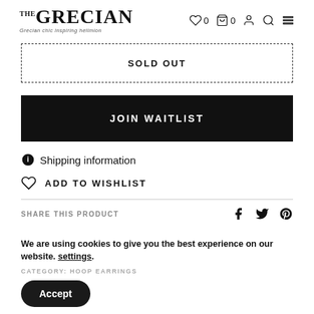THE GRECIAN — Grecian chic inspiring hellmion
SOLD OUT
JOIN WAITLIST
Shipping information
ADD TO WISHLIST
SHARE THIS PRODUCT
We are using cookies to give you the best experience on our website. settings.
CATEGORY: HOOP EARRINGS
Accept